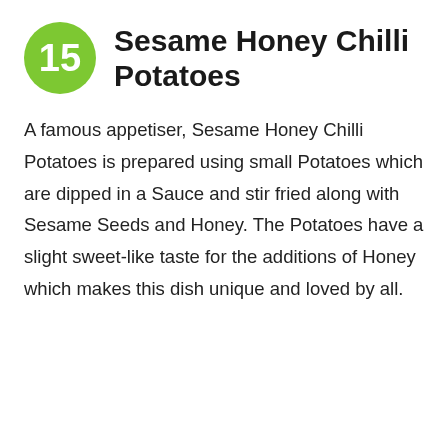15 Sesame Honey Chilli Potatoes
A famous appetiser, Sesame Honey Chilli Potatoes is prepared using small Potatoes which are dipped in a Sauce and stir fried along with Sesame Seeds and Honey. The Potatoes have a slight sweet-like taste for the additions of Honey which makes this dish unique and loved by all.